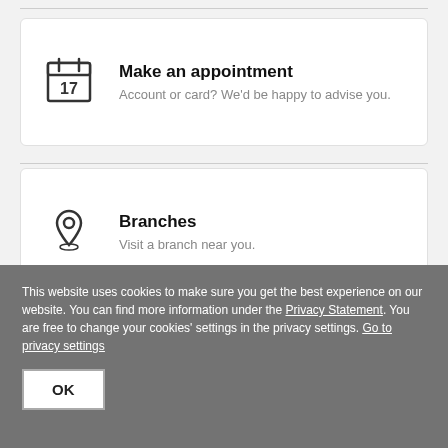[Figure (illustration): Calendar icon with number 17]
Make an appointment
Account or card? We'd be happy to advise you.
[Figure (illustration): Location pin / map marker icon]
Branches
Visit a branch near you.
This website uses cookies to make sure you get the best experience on our website. You can find more information under the Privacy Statement. You are free to change your cookies' settings in the privacy settings. Go to privacy settings
OK